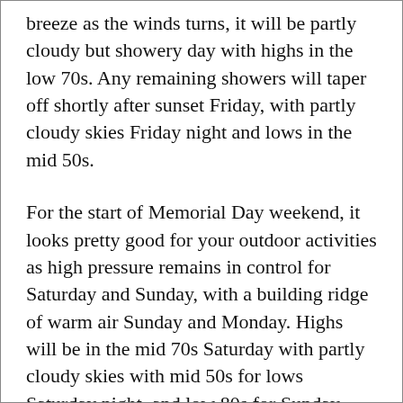breeze as the winds turns, it will be partly cloudy but showery day with highs in the low 70s. Any remaining showers will taper off shortly after sunset Friday, with partly cloudy skies Friday night and lows in the mid 50s.
For the start of Memorial Day weekend, it looks pretty good for your outdoor activities as high pressure remains in control for Saturday and Sunday, with a building ridge of warm air Sunday and Monday. Highs will be in the mid 70s Saturday with partly cloudy skies with mid 50s for lows Saturday night, and low 80s for Sunday with low to mid 60s for lows. Temperatures could get close to 90 on Monday,